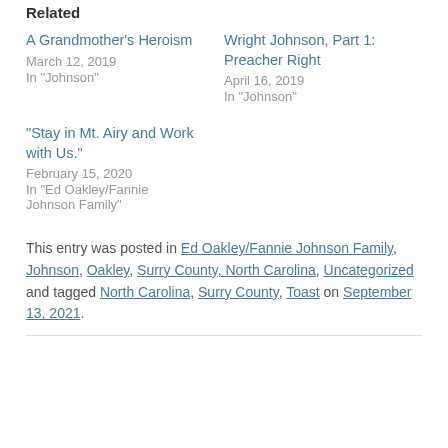Related
A Grandmother's Heroism
March 12, 2019
In "Johnson"
Wright Johnson, Part 1: Preacher Right
April 16, 2019
In "Johnson"
“Stay in Mt. Airy and Work with Us.”
February 15, 2020
In "Ed Oakley/Fannie Johnson Family"
This entry was posted in Ed Oakley/Fannie Johnson Family, Johnson, Oakley, Surry County, North Carolina, Uncategorized and tagged North Carolina, Surry County, Toast on September 13, 2021.